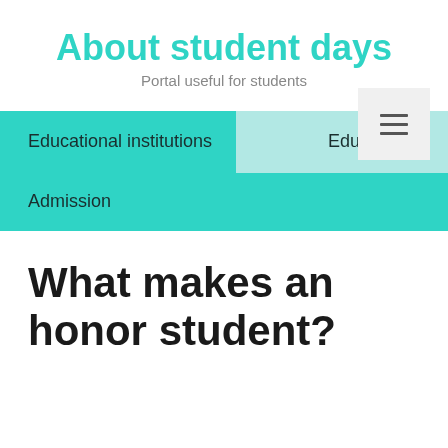About student days
Portal useful for students
Educational institutions | Education | Admission
What makes an honor student?